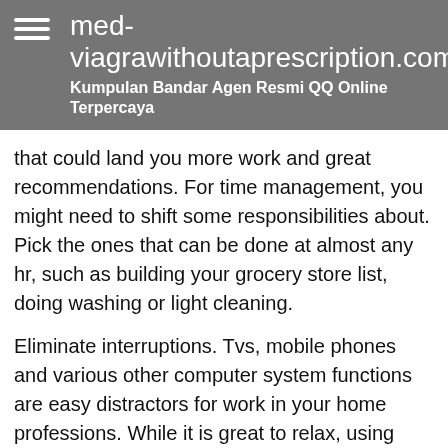med-viagrawithoutaprescription.com
Kumpulan Bandar Agen Resmi QQ Online Terpercaya
that could land you more work and great recommendations. For time management, you might need to shift some responsibilities about. Pick the ones that can be done at almost any hr, such as building your grocery store list, doing washing or light cleaning.
Eliminate interruptions. Tvs, mobile phones and various other computer system functions are easy distractors for work in your home professions. While it is great to relax, using these various other technical devices can prolong your damage and be detrimental. Social media networks are the greatest culprit. I found that when I logged right into social media networks to advertise my articles, I would certainly wind up messaging and talking with friends. Attempt to maintain your social networking limited to